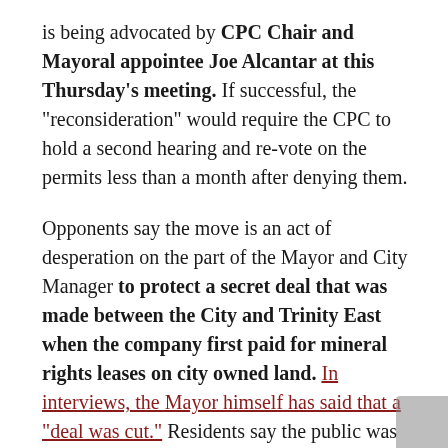is being advocated by CPC Chair and Mayoral appointee Joe Alcantar at this Thursday's meeting. If successful, the "reconsideration" would require the CPC to hold a second hearing and re-vote on the permits less than a month after denying them.
Opponents say the move is an act of desperation on the part of the Mayor and City Manager to protect a secret deal that was made between the City and Trinity East when the company first paid for mineral rights leases on city owned land. In interviews, the Mayor himself has said that a "deal was cut." Residents say the public was left out of that deal.
But after making calls to City Hall, Schermbeck is convinced that no one in Dallas city government is aware that the "gas drilling permit" being proposed by Trinity East is actually a permit to build a large